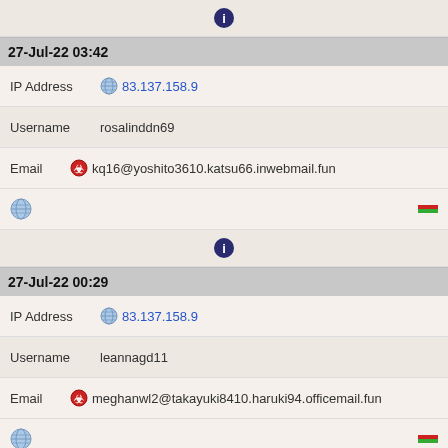[Figure (other): Browser/info icon (dark blue circle with 'i')]
27-Jul-22 03:42
IP Address 83.137.158.9
Username rosalinddn69
Email kq16@yoshito3610.katsu66.inwebmail.fun
[Figure (other): Globe icon and flag icons]
[Figure (other): Browser/info icon (dark blue circle with 'i')]
27-Jul-22 00:29
IP Address 83.137.158.9
Username leannagd11
Email meghanwl2@takayuki8410.haruki94.officemail.fun
[Figure (other): Globe icon and flag icons]
[Figure (other): Browser/info icon (dark blue circle with 'i')]
26-Jul-22 11:50
IP Address 83.137.158.9
Username kimberleyuf3
Email royxh20@yuji010.atsushi49.besttorrents.top